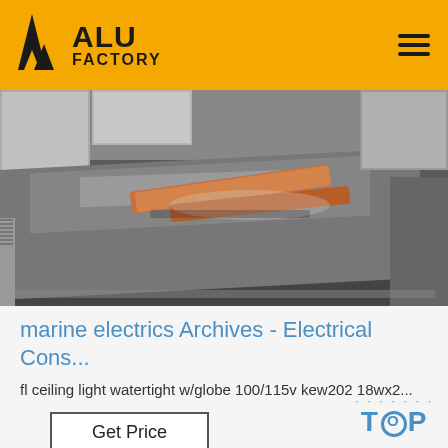ALU FACTORY
[Figure (photo): Stacked aluminum sheets/plates in a warehouse or factory setting, with wooden separators visible on top of the stack.]
marine electrics Archives - Electrical Cons...
fl ceiling light watertight w/globe 100/115v kew202 18wx2...
Get Price